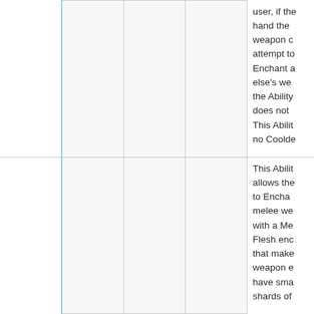|  |  |  |  | user, if the hand the weapon o attempt to Enchant a else's we the Ability does not This Abilit no Coolde |
|  |  |  |  | This Abilit allows the to Encha melee we with a Me Flesh enc that make weapon e have sma shards of |